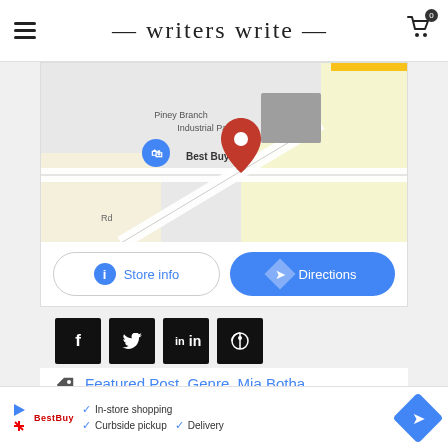writers write
[Figure (map): Google Maps screenshot showing Best Buy and nearby Industrial Park area with blue and red location pins]
[Figure (screenshot): Store info and Directions buttons below map]
[Figure (infographic): Social share buttons: Facebook, Twitter, LinkedIn, Pinterest]
Featured Post, Genre, Mia Botha
[Figure (screenshot): Bottom advertisement bar showing In-store shopping, Curbside pickup, Delivery options with directions button]